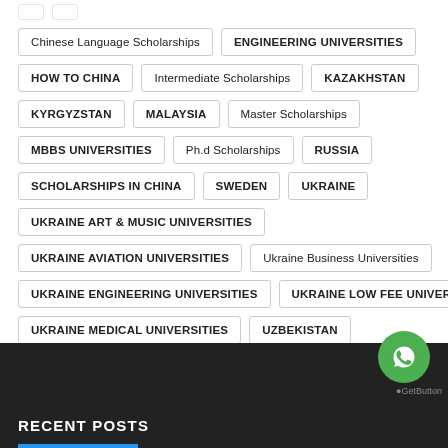Chinese Language Scholarships
ENGINEERING UNIVERSITIES
HOW TO CHINA
Intermediate Scholarships
KAZAKHSTAN
KYRGYZSTAN
MALAYSIA
Master Scholarships
MBBS UNIVERSITIES
Ph.d Scholarships
RUSSIA
SCHOLARSHIPS IN CHINA
SWEDEN
UKRAINE
UKRAINE ART & MUSIC UNIVERSITIES
UKRAINE AVIATION UNIVERSITIES
Ukraine Business Universities
UKRAINE ENGINEERING UNIVERSITIES
UKRAINE LOW FEE UNIVERSITIES
UKRAINE MEDICAL UNIVERSITIES
UZBEKISTAN
RECENT POSTS
[Figure (logo): WhatsApp contact button - green circle with phone/chat icon]